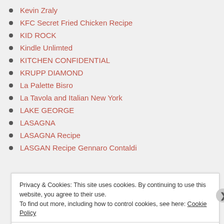Kevin Zraly
KFC Secret Fried Chicken Recipe
KID ROCK
Kindle Unlimted
KITCHEN CONFIDENTIAL
KRUPP DIAMOND
La Palette Bisro
La Tavola and Italian New York
LAKE GEORGE
LASAGNA
LASAGNA Recipe
LASGAN Recipe Gennaro Contaldi
Privacy & Cookies: This site uses cookies. By continuing to use this website, you agree to their use. To find out more, including how to control cookies, see here: Cookie Policy
Close and accept